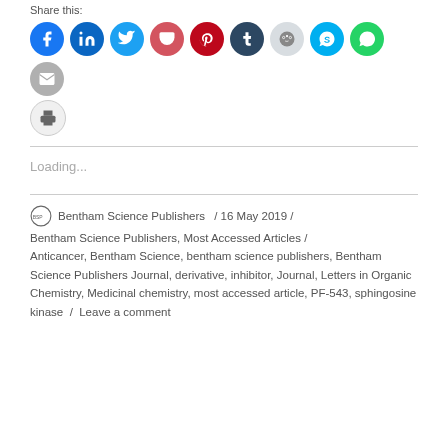Share this:
[Figure (screenshot): Row of social media sharing icons: Facebook (blue), LinkedIn (blue), Twitter (light blue), Pocket (dark red), Pinterest (red), Tumblr (dark navy), Reddit (light grey), Skype (sky blue), WhatsApp (green), Email (grey), Print (light grey)]
Loading...
Bentham Science Publishers / 16 May 2019 / Bentham Science Publishers, Most Accessed Articles / Anticancer, Bentham Science, bentham science publishers, Bentham Science Publishers Journal, derivative, inhibitor, Journal, Letters in Organic Chemistry, Medicinal chemistry, most accessed article, PF-543, sphingosine kinase / Leave a comment